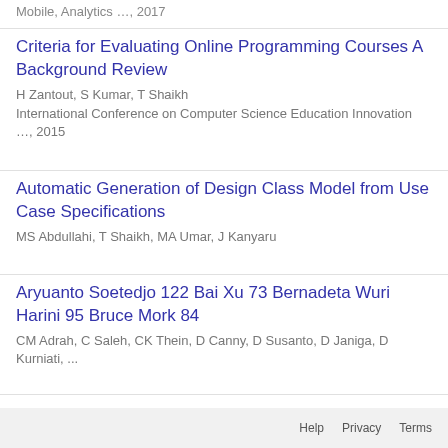Mobile, Analytics …, 2017
Criteria for Evaluating Online Programming Courses A Background Review
H Zantout, S Kumar, T Shaikh
International Conference on Computer Science Education Innovation …, 2015
Automatic Generation of Design Class Model from Use Case Specifications
MS Abdullahi, T Shaikh, MA Umar, J Kanyaru
Aryuanto Soetedjo 122 Bai Xu 73 Bernadeta Wuri Harini 95 Bruce Mork 84
CM Adrah, C Saleh, CK Thein, D Canny, D Susanto, D Janiga, D Kurniati, ...
SHOW MORE
Help   Privacy   Terms